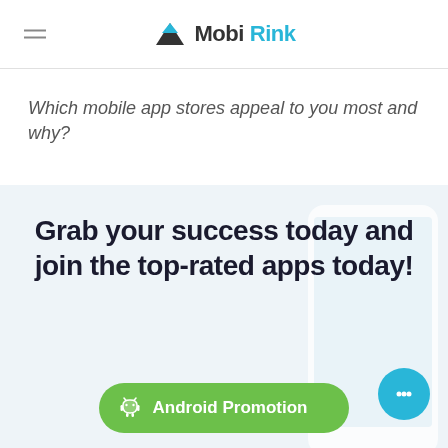MobiRink
Which mobile app stores appeal to you most and why?
Grab your success today and join the top-rated apps today!
Android Promotion
iOS Promotion